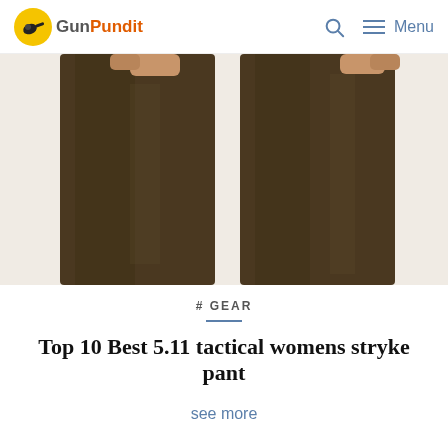GunPundit  🔍  ≡ Menu
[Figure (photo): Two close-up shots of dark olive/brown tactical pants legs, showing the fabric texture and fit, with hands visible at the top of each leg]
# GEAR
Top 10 Best 5.11 tactical womens stryke pant
see more